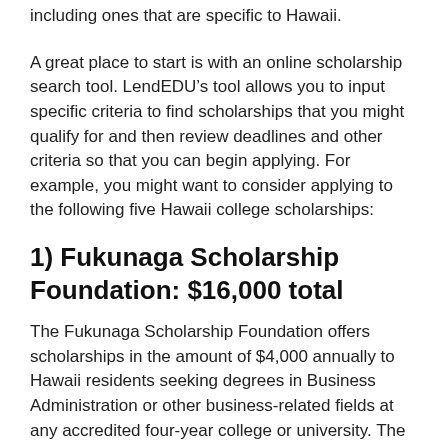including ones that are specific to Hawaii.
A great place to start is with an online scholarship search tool. LendEDU’s tool allows you to input specific criteria to find scholarships that you might qualify for and then review deadlines and other criteria so that you can begin applying. For example, you might want to consider applying to the following five Hawaii college scholarships:
1) Fukunaga Scholarship Foundation: $16,000 total
The Fukunaga Scholarship Foundation offers scholarships in the amount of $4,000 annually to Hawaii residents seeking degrees in Business Administration or other business-related fields at any accredited four-year college or university. The